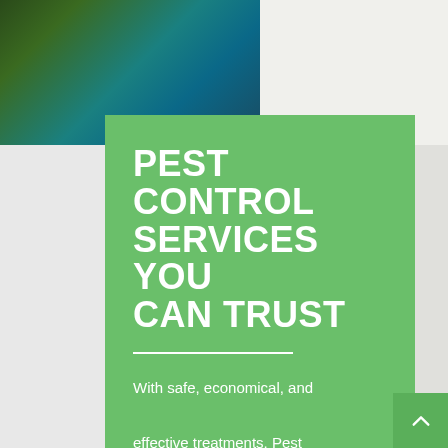[Figure (photo): Background photo showing dark green foliage and teal/blue blurred background in upper left area]
PEST CONTROL SERVICES YOU CAN TRUST
With safe, economical, and effective treatments, Pest Management, Inc. is the name you can trust for your extermination services. We know that an infestation can be not only an annoyance but also